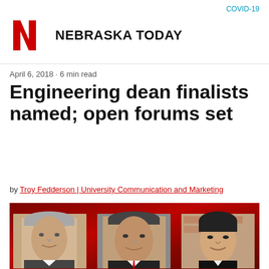COVID-19
[Figure (logo): University of Nebraska red N logo]
NEBRASKA TODAY
April 6, 2018 · 6 min read
Engineering dean finalists named; open forums set
by Troy Fedderson | University Communication and Marketing
[Figure (photo): Group photo banner with three dean finalists (two men and one woman) against a red Nebraska-themed background]